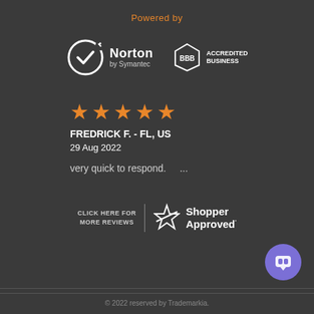Powered by
[Figure (logo): Norton by Symantec logo — circle with checkmark and Norton wordmark with 'by Symantec' subtitle]
[Figure (logo): BBB Accredited Business logo]
[Figure (other): Five orange stars rating]
FREDRICK F.  - FL, US
29 Aug 2022
very quick to respond.    ...
[Figure (logo): Shopper Approved logo with star icon; text reads CLICK HERE FOR MORE REVIEWS | Shopper Approved']
[Figure (other): Purple chat bubble icon button in bottom right]
© 2022 reserved by Trademarkia.